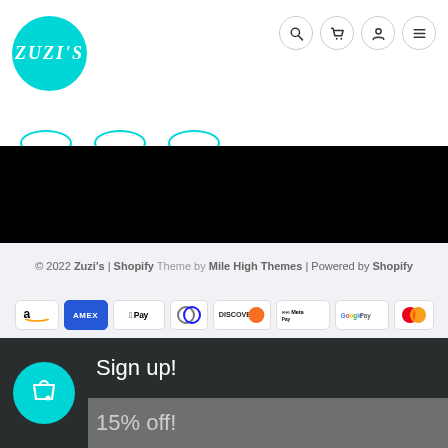[Figure (logo): Zuzi's teal circular logo with stylized text]
[Figure (screenshot): Navigation icons: search, cart, account, menu]
[Figure (illustration): Black banner/bar section]
© 2022 Zuzi's | Shopify Theme by Mile High Themes | Powered by Shopify
[Figure (infographic): Payment method badges: Amazon, Amex, Apple Pay, Diners, Discover, Meta Pay, Google Pay, Mastercard, PayPal, Shop Pay, Venmo, Visa]
[Figure (infographic): Popup banner: Sign up! 15% off! with teal shopping bag icon]